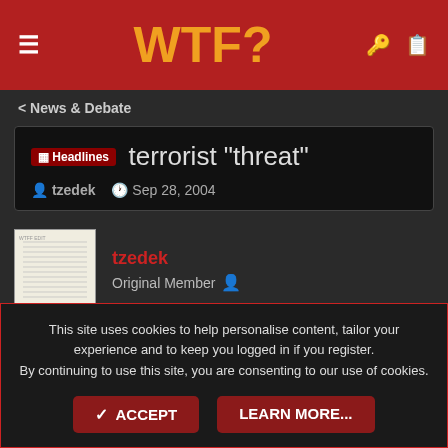WTF?
< News & Debate
Headlines terrorist "threat"
tzedek · Sep 28, 2004
tzedek
Original Member
Sep 28, 2004	#1
This site uses cookies to help personalise content, tailor your experience and to keep you logged in if you register.
By continuing to use this site, you are consenting to our use of cookies.
ACCEPT
LEARN MORE...